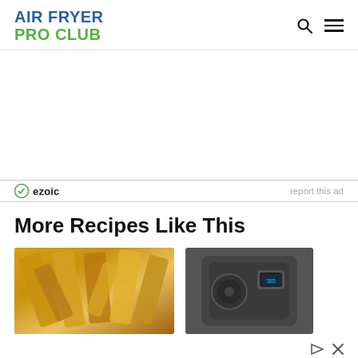AIR FRYER PRO CLUB
[Figure (screenshot): Advertisement area (blank white space) with Ezoic badge and report this ad link at bottom]
More Recipes Like This
[Figure (photo): Photo of crispy air fryer potato wedges/fries with seasoning]
[Figure (photo): Photo of a black air fryer appliance with digital display]